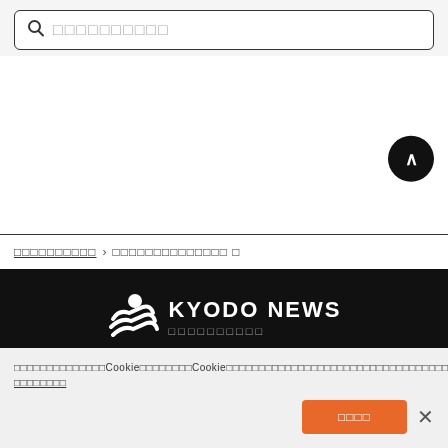[Figure (screenshot): Search input box with magnifying glass icon and Japanese placeholder text]
[Figure (screenshot): Scroll-to-top circular button (dark circle with upward caret)]
oooooooooo > oooooooooooooo o
[Figure (logo): Kyodo News logo with white icon and text on black background]
ooooooooooooooCookieooooooooCookieooooooooooooooooooooooooooooooooooooooooooooooooooooooooooCookieooooooooooooooooo oooooooo
[Figure (screenshot): Orange accept cookie button and close X button]